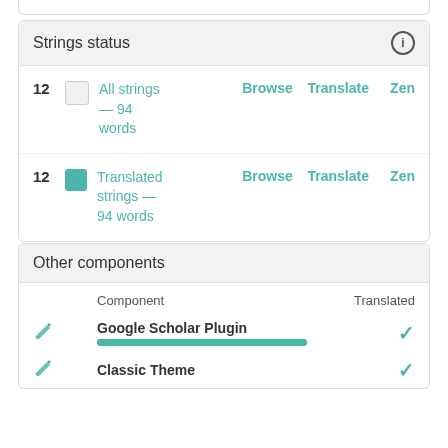| # |  | Type | Browse | Translate | Zen |
| --- | --- | --- | --- | --- | --- |
| 12 |  | All strings — 94 words | Browse | Translate | Zen |
| 12 |  | Translated strings — 94 words | Browse | Translate | Zen |
|  | Component | Translated |
| --- | --- | --- |
|  | Google Scholar Plugin | ✓ |
|  | Classic Theme | ✓ |